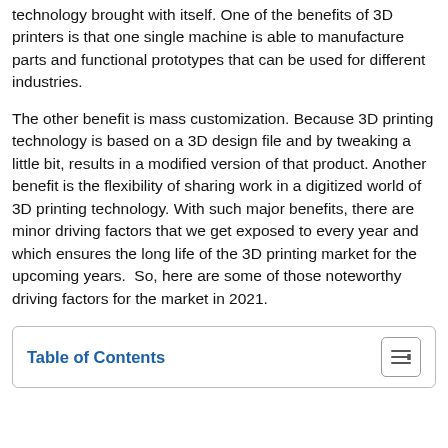technology brought with itself. One of the benefits of 3D printers is that one single machine is able to manufacture parts and functional prototypes that can be used for different industries.
The other benefit is mass customization. Because 3D printing technology is based on a 3D design file and by tweaking a little bit, results in a modified version of that product. Another benefit is the flexibility of sharing work in a digitized world of 3D printing technology. With such major benefits, there are minor driving factors that we get exposed to every year and which ensures the long life of the 3D printing market for the upcoming years. So, here are some of those noteworthy driving factors for the market in 2021.
Table of Contents